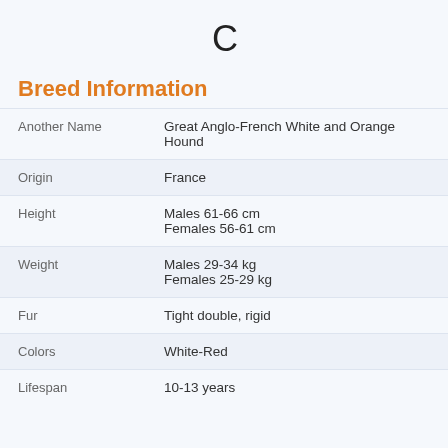[Figure (other): Loading spinner icon — large 'C' letter in dark gray representing a loading indicator]
Breed Information
| Field | Value |
| --- | --- |
| Another Name | Great Anglo-French White and Orange Hound |
| Origin | France |
| Height | Males 61-66 cm
Females 56-61 cm |
| Weight | Males 29-34 kg
Females 25-29 kg |
| Fur | Tight double, rigid |
| Colors | White-Red |
| Lifespan | 10-13 years |